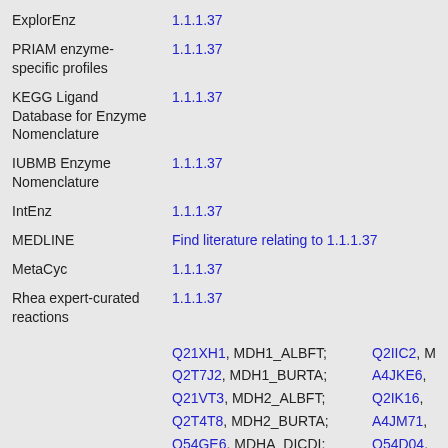| Database | Link/ID |
| --- | --- |
| ExplorEnz | 1.1.1.37 |
| PRIAM enzyme-specific profiles | 1.1.1.37 |
| KEGG Ligand Database for Enzyme Nomenclature | 1.1.1.37 |
| IUBMB Enzyme Nomenclature | 1.1.1.37 |
| IntEnz | 1.1.1.37 |
| MEDLINE | Find literature relating to 1.1.1.37 |
| MetaCyc | 1.1.1.37 |
| Rhea expert-curated reactions | 1.1.1.37 |
|  | Q21XH1, MDH1_ALBFT; Q2IIC2, M... Q2T7J2, MDH1_BURTA; A4JKE6, ... Q21VT3, MDH2_ALBFT; Q2IK16, ... Q2T4T8, MDH2_BURTA; A4JM71, ... Q54GE6, MDHA_DICDI; Q54D04, ... P57106, MDHC2_ARATH; Q9FJU0, ... |